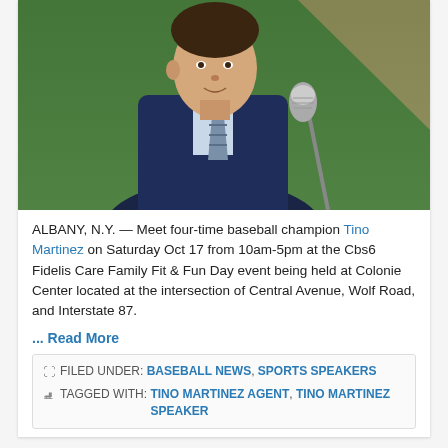[Figure (photo): A man in a dark suit and striped tie speaking at a microphone outdoors on a baseball field (green grass and clay visible in background)]
ALBANY, N.Y. — Meet four-time baseball champion Tino Martinez on Saturday Oct 17 from 10am-5pm at the Cbs6 Fidelis Care Family Fit & Fun Day event being held at Colonie Center located at the intersection of Central Avenue, Wolf Road, and Interstate 87.
... Read More
FILED UNDER: BASEBALL NEWS, SPORTS SPEAKERS
TAGGED WITH: TINO MARTINEZ AGENT, TINO MARTINEZ SPEAKER